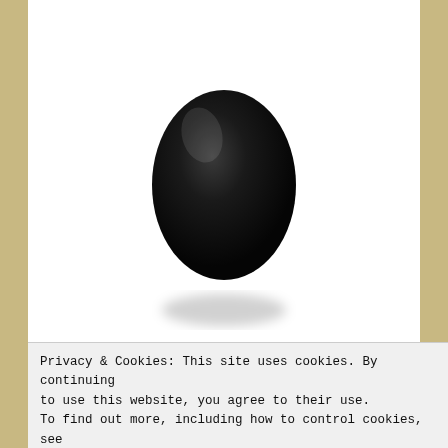[Figure (photo): A single black egg on a white background, oval/egg shaped, glossy black with slight shadow at bottom]
★★☆☆☆ ℹ 7  Votes
Evolution on Earth was pure luck.
Privacy & Cookies: This site uses cookies. By continuing to use this website, you agree to their use. To find out more, including how to control cookies, see here: Cookie Policy
Close and accept